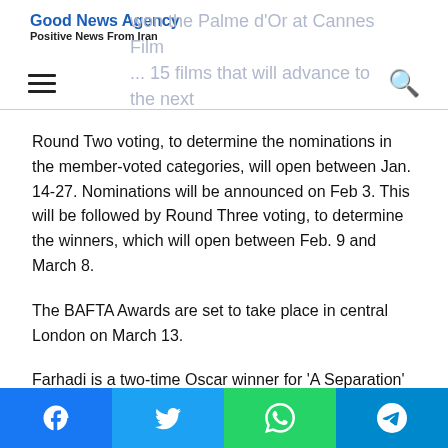Good News Agency — Positive News From Iran
Round Two voting, to determine the nominations in the member-voted categories, will open between Jan. 14-27. Nominations will be announced on Feb 3. This will be followed by Round Three voting, to determine the winners, which will open between Feb. 9 and March 8.
The BAFTA Awards are set to take place in central London on March 13.
Farhadi is a two-time Oscar winner for 'A Separation' and 'The Salesman'. This is the fifth time he has represented Iran in the
Facebook | Twitter | WhatsApp | Telegram